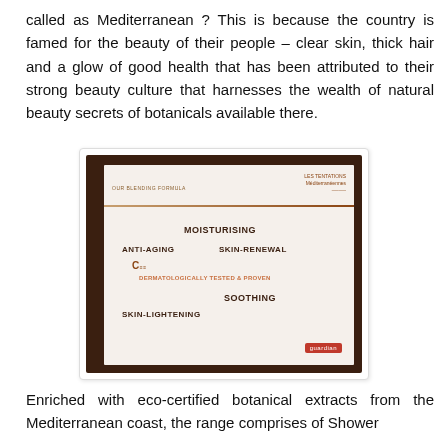called as Mediterranean ? This is because the country is famed for the beauty of their people – clear skin, thick hair and a glow of good health that has been attributed to their strong beauty culture that harnesses the wealth of natural beauty secrets of botanicals available there.
[Figure (photo): A photograph of a presentation slide showing a product formula slide with text: LES TENTATIONS Méditerranéennes, OUR BLENDING FORMULA, MOISTURISING, ANTI-AGING, SKIN-RENEWAL, C (logo), DERMATOLOGICALLY TESTED & PROVEN, SOOTHING, SKIN-LIGHTENING, Guardian logo]
Enriched with eco-certified botanical extracts from the Mediterranean coast, the range comprises of Shower